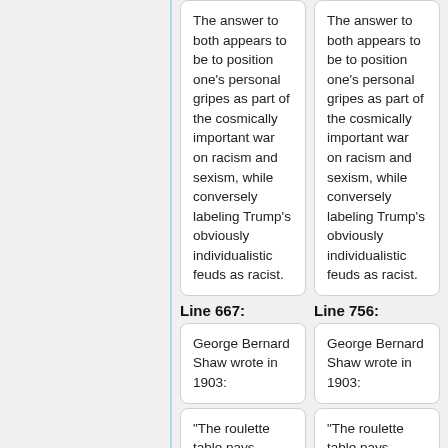The answer to both appears to be to position one’s personal gripes as part of the cosmically important war on racism and sexism, while conversely labeling Trump’s obviously individualistic feuds as racist.
The answer to both appears to be to position one’s personal gripes as part of the cosmically important war on racism and sexism, while conversely labeling Trump’s obviously individualistic feuds as racist.
Line 667:
Line 756:
George Bernard Shaw wrote in 1903:
George Bernard Shaw wrote in 1903:
"The roulette table pays
"The roulette table pays